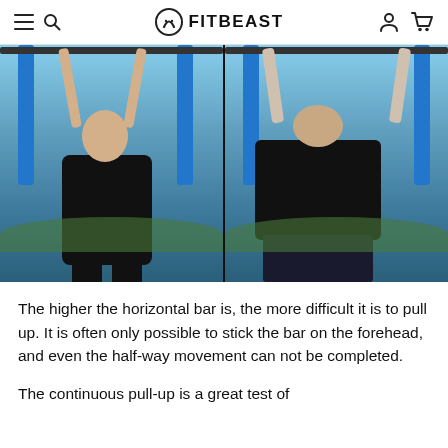FITBEAST
[Figure (photo): Two side-by-side outdoor photos of a man doing pull-ups on a high horizontal bar at a blue outdoor gym structure. Left photo shows the man facing the camera hanging from the bar, right photo shows the man from behind hanging from the bar.]
The higher the horizontal bar is, the more difficult it is to pull up. It is often only possible to stick the bar on the forehead, and even the half-way movement can not be completed.
The continuous pull-up is a great test of